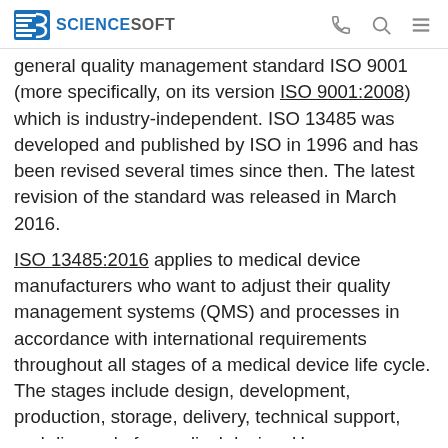ScienceSoft
general quality management standard ISO 9001 (more specifically, on its version ISO 9001:2008) which is industry-independent. ISO 13485 was developed and published by ISO in 1996 and has been revised several times since then. The latest revision of the standard was released in March 2016.
ISO 13485:2016 applies to medical device manufacturers who want to adjust their quality management systems (QMS) and processes in accordance with international requirements throughout all stages of a medical device life cycle. The stages include design, development, production, storage, delivery, technical support, and disposal of a medical device. Here, you can review the list of documents required for a medical device manufacturer's QMS to comply with ISO 13485:2016.